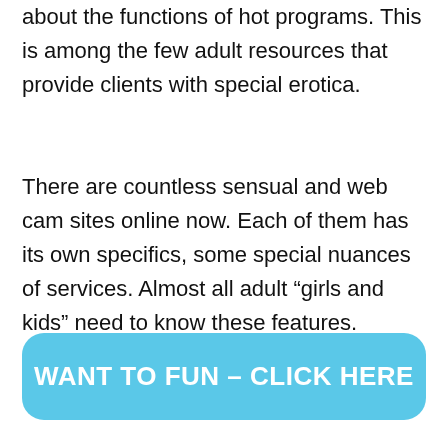about the functions of hot programs. This is among the few adult resources that provide clients with special erotica.
There are countless sensual and web cam sites online now. Each of them has its own specifics, some special nuances of services. Almost all adult “girls and kids” need to know these features.
WANT TO FUN – CLICK HERE